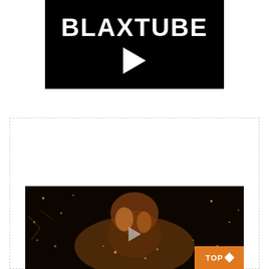[Figure (logo): BLAXTUBE logo on black background with white play button triangle]
POPULAR VIDEOS
[Figure (photo): Video thumbnail showing person with hands up, gold/dark dramatic lighting with a play button overlay. TOP button with diamond icon in bottom right corner.]